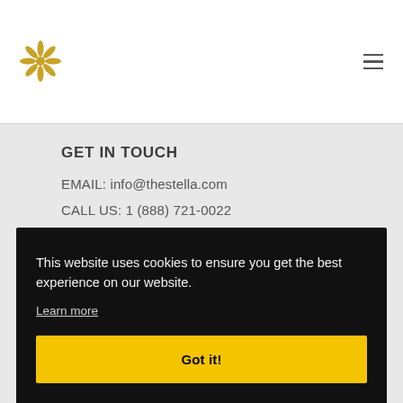Stella logo and navigation
GET IN TOUCH
EMAIL: info@thestella.com
CALL US: 1 (888) 721-0022
This website uses cookies to ensure you get the best experience on our website. Learn more Got it!